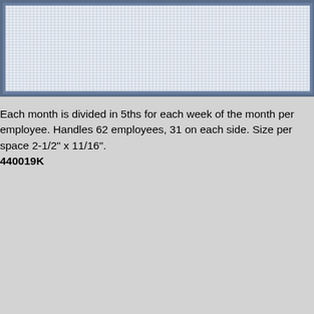[Figure (other): A grid/planning chart with blue border showing a scheduling planner grid with rows and columns forming small squares, on a white background with a blue-gray frame.]
Each month is divided in 5ths for each week of the month per employee. Handles 62 employees, 31 on each side. Size per space 2-1/2" x 11/16".
440019K
4400
$39.9
24" x
plann
white
9120